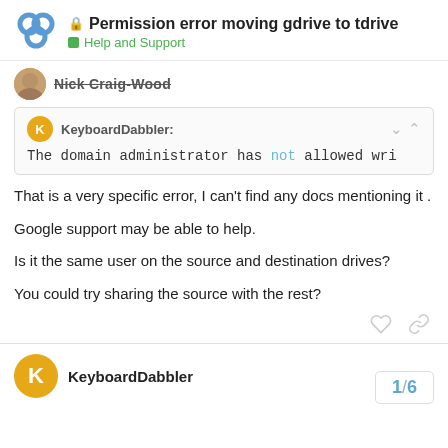Permission error moving gdrive to tdrive — Help and Support
Nick Craig-Wood
KeyboardDabbler: The domain administrator has not allowed wri
That is a very specific error, I can't find any docs mentioning it .
Google support may be able to help.
Is it the same user on the source and destination drives?
You could try sharing the source with the rest?
KeyboardDabbler